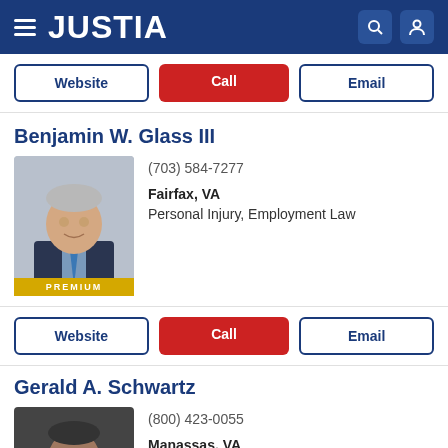JUSTIA
Website | Call | Email
Benjamin W. Glass III
(703) 584-7277
Fairfax, VA
Personal Injury, Employment Law
PREMIUM
Website | Call | Email
Gerald A. Schwartz
(800) 423-0055
Manassas, VA
Personal Injury